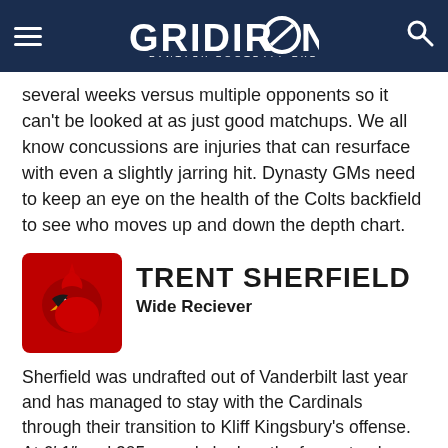GRIDIRON FANTASY FOOTBALL EXPERTS
several weeks versus multiple opponents so it can't be looked at as just good matchups. We all know concussions are injuries that can resurface with even a slightly jarring hit. Dynasty GMs need to keep an eye on the health of the Colts backfield to see who moves up and down the depth chart.
TRENT SHERFIELD — Wide Reciever
Sherfield was undrafted out of Vanderbilt last year and has managed to stay with the Cardinals through their transition to Kliff Kingsbury's offense. At 6′ 1″ and 205 pounds he has the frame to play inside or outside in the new offense. His has decent hands and helps out on special teams in the return game. He also helped out last year in place of Christian Kirk when he went on IR finishing the year with four straight games of at least four targets. He is gaining